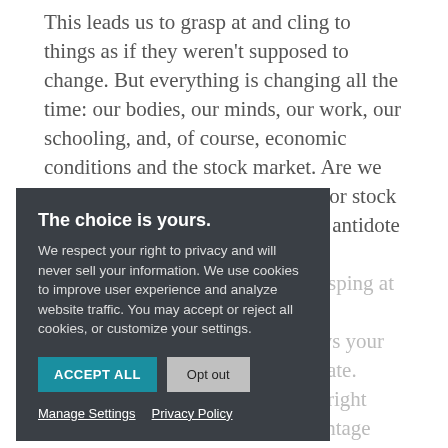This leads us to grasp at and cling to things as if they weren't supposed to change. But everything is changing all the time: our bodies, our minds, our work, our schooling, and, of course, economic conditions and the stock market. Are we so in denial to think the economy or stock market should only increase? The antidote to all this anxiety, is rasping at allows your to abate. pain right advantage for awakening.
[Figure (screenshot): Cookie consent overlay dialog with dark background. Title: 'The choice is yours.' Body text about privacy policy and cookies. Two buttons: 'ACCEPT ALL' (teal) and 'Opt out' (gray). Links: 'Manage Settings' and 'Privacy Policy'.]